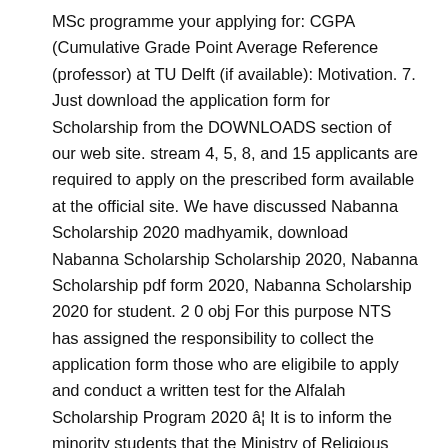MSc programme your applying for: CGPA (Cumulative Grade Point Average Reference (professor) at TU Delft (if available): Motivation. 7. Just download the application form for Scholarship from the DOWNLOADS section of our web site. stream 4, 5, 8, and 15 applicants are required to apply on the prescribed form available at the official site. We have discussed Nabanna Scholarship 2020 madhyamik, download Nabanna Scholarship Scholarship 2020, Nabanna Scholarship pdf form 2020, Nabanna Scholarship 2020 for student. 2 0 obj For this purpose NTS has assigned the responsibility to collect the application form those who are eligibile to apply and conduct a written test for the Alfalah Scholarship Program 2020 â¦ It is to inform the minority students that the Ministry of Religious Affairs is offering a scholarship to the minority students. 500 Top Up with the Power Duo! Bank Alfalah continues with prudent provisioning leading to PAT of Rs. Before filling the